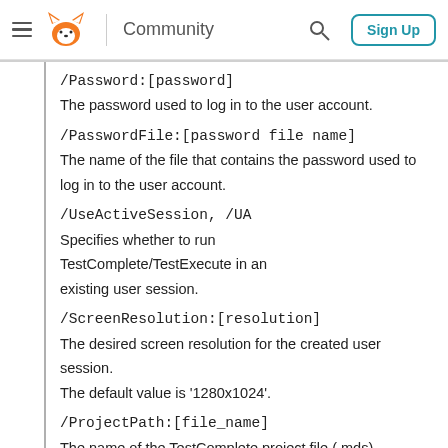Community  Sign Up
/Password:[password]
The password used to log in to the user account.
/PasswordFile:[password file name]
The name of the file that contains the password used to log in to the user account.
/UseActiveSession, /UA
Specifies whether to run TestComplete/TestExecute in an existing user session.
/ScreenResolution:[resolution]
The desired screen resolution for the created user session.
The default value is '1280x1024'.
/ProjectPath:[file_name]
The name of the TestComplete project file (.mds)